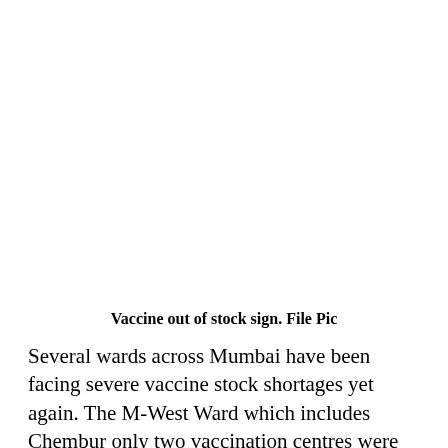[Figure (photo): Vaccine out of stock sign. File Pic — white/blank image area]
Vaccine out of stock sign. File Pic
Several wards across Mumbai have been facing severe vaccine stock shortages yet again. The M-West Ward which includes Chembur only two vaccination centres were functional on June 30. They were due to receive fresh stock a day earlier but this was rescheduled to July 1 due to lack of supply. In the L ward (covers Kurla), 16